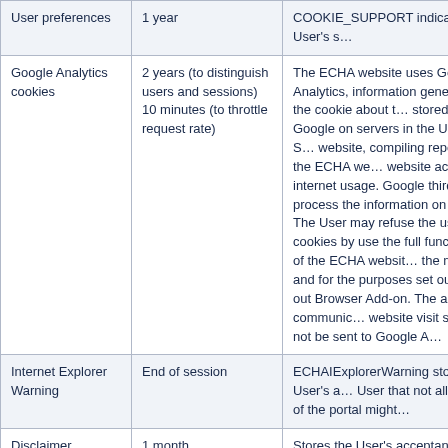| Cookie name / type | Duration | Description |
| --- | --- | --- |
| User preferences | 1 year | COOKIE_SUPPORT indicates the User's s… |
| Google Analytics cookies | 2 years (to distinguish users and sessions) 10 minutes (to throttle request rate) | The ECHA website uses Google Analytics, information generated by the cookie about t… stored by Google on servers in the United S… website, compiling reports on the ECHA we… website activity and internet usage. Google third parties process the information on Go… The User may refuse the use of cookies by use the full functionality of the ECHA websit… the manner and for the purposes set out ab… out Browser Add-on. The add-on communic… website visit should not be sent to Google A… |
| Internet Explorer Warning | End of session | ECHAIExplorerWarning stores the User's a… User that not all features of the portal might… |
| Disclaimer | 1 month | Stores the User's acceptance on the legal d… Chemicals page along with nearly all the se… |
| AddThis | 30 minutes to 2 | _atuvc (2 years): makes sure that the Us… |